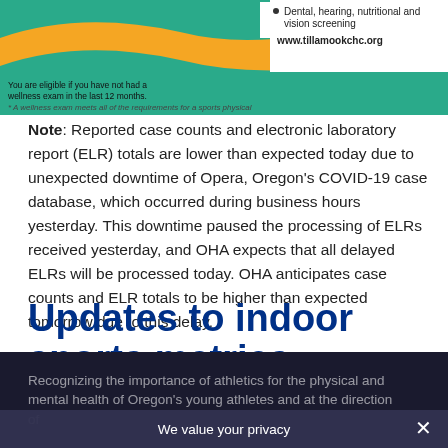[Figure (illustration): Banner from Tillamook Community Health Center with teal and orange wave design. Contains bullet point 'Dental, hearing, nutritional and vision screening', URL 'www.tillamookchc.org', and text about wellness exam eligibility and sports physical requirements.]
Note: Reported case counts and electronic laboratory report (ELR) totals are lower than expected today due to unexpected downtime of Opera, Oregon's COVID-19 case database, which occurred during business hours yesterday. This downtime paused the processing of ELRs received yesterday, and OHA expects that all delayed ELRs will be processed today. OHA anticipates case counts and ELR totals to be higher than expected tomorrow due to this delay.
Updates to indoor sports metrics, effective April 23
Recognizing the importance of athletics for the physical and mental health of Oregon's young athletes and at the direction of
We value your privacy